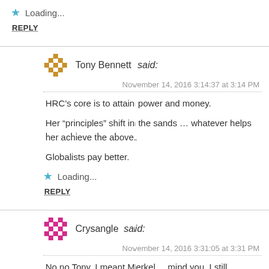Loading...
REPLY
Tony Bennett said:
November 14, 2016 3:14:37 at 3:14 PM
HRC’s core is to attain power and money.
Her “principles” shift in the sands … whatever helps her achieve the above.
Globalists pay better.
Loading...
REPLY
Crysangle said:
November 14, 2016 3:31:05 at 3:31 PM
No no Tony, I meant Merkel ... mind you, I still